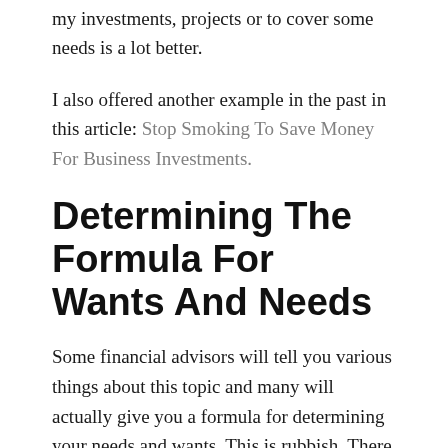my investments, projects or to cover some needs is a lot better.
I also offered another example in the past in this article: Stop Smoking To Save Money For Business Investments.
Determining The Formula For Wants And Needs
Some financial advisors will tell you various things about this topic and many will actually give you a formula for determining your needs and wants. This is rubbish. There is no such thing. Determining your personal needs and